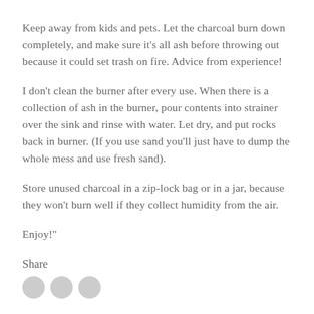Keep away from kids and pets. Let the charcoal burn down completely, and make sure it's all ash before throwing out because it could set trash on fire. Advice from experience!
I don't clean the burner after every use. When there is a collection of ash in the burner, pour contents into strainer over the sink and rinse with water. Let dry, and put rocks back in burner. (If you use sand you'll just have to dump the whole mess and use fresh sand).
Store unused charcoal in a zip-lock bag or in a jar, because they won't burn well if they collect humidity from the air.
Enjoy!"
Share